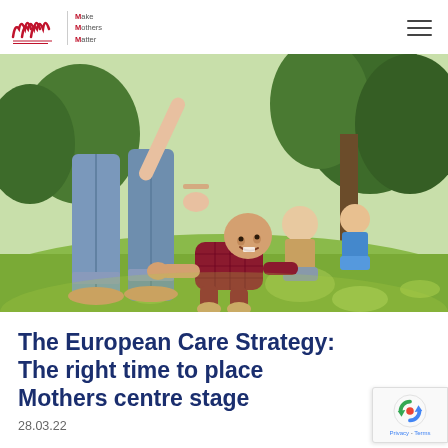Make Mothers Matter — Navigation header with logo and hamburger menu
[Figure (photo): Outdoor park scene: a woman in jeans reaching down toward a smiling baby in a red checkered shirt crawling on green grass. In the background, another woman and a young boy sitting on the grass near a tree.]
The European Care Strategy: The right time to place Mothers centre stage
28.03.22